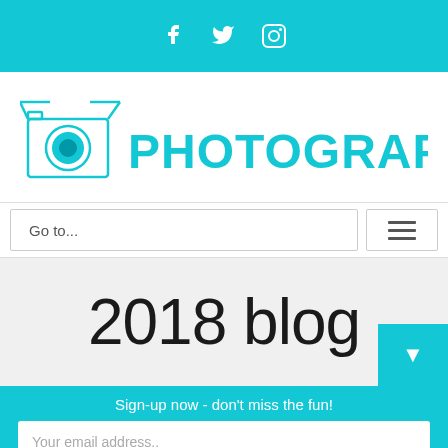f  🐦  📷
[Figure (logo): Toy Photographers logo with camera icon and text PHOTOGRAPHERS]
Go to...
2018 blog
Sign-up now - don't miss the fun!
Your email address..
Subscribe